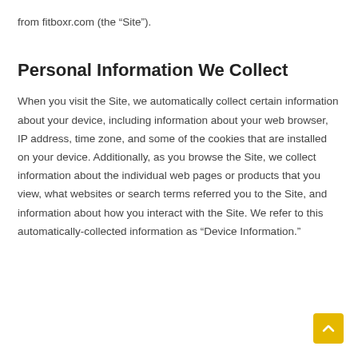from fitboxr.com (the “Site”).
Personal Information We Collect
When you visit the Site, we automatically collect certain information about your device, including information about your web browser, IP address, time zone, and some of the cookies that are installed on your device. Additionally, as you browse the Site, we collect information about the individual web pages or products that you view, what websites or search terms referred you to the Site, and information about how you interact with the Site. We refer to this automatically-collected information as “Device Information.”